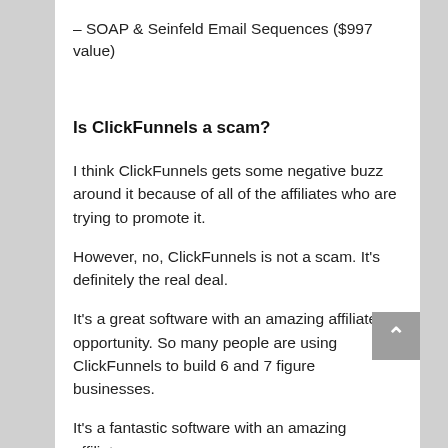– SOAP & Seinfeld Email Sequences ($997 value)
Is ClickFunnels a scam?
I think ClickFunnels gets some negative buzz around it because of all of the affiliates who are trying to promote it.
However, no, ClickFunnels is not a scam. It’s definitely the real deal.
It’s a great software with an amazing affiliate opportunity. So many people are using ClickFunnels to build 6 and 7 figure businesses.
It’s a fantastic software with an amazing affiliate